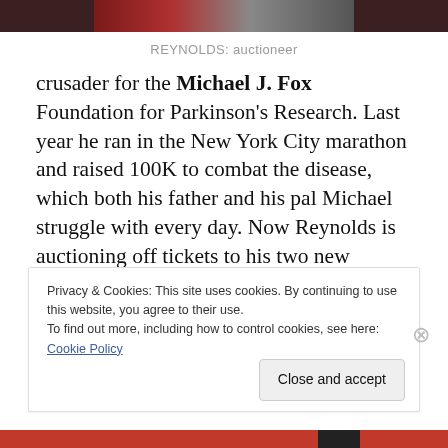[Figure (photo): Cropped photo of Reynolds, shown partially at top of page]
REYNOLDS: auctioneer
crusader for the Michael J. Fox Foundation for Parkinson's Research. Last year he ran in the New York City marathon and raised 100K to combat the disease, which both his father and his pal Michael struggle with every day. Now Reynolds is auctioning off tickets to his two new movies. Winner of the Wolverine tickets will attend the April 28 premiere in Hollywood. Winner of the Proposal tickets will attend the June 1st premiere,with
Privacy & Cookies: This site uses cookies. By continuing to use this website, you agree to their use.
To find out more, including how to control cookies, see here: Cookie Policy